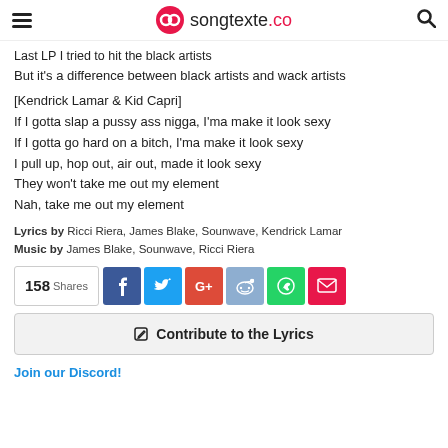songtexte.co
Last LP I tried to hit the black artists
But it's a difference between black artists and wack artists
[Kendrick Lamar & Kid Capri]
If I gotta slap a pussy ass nigga, I'ma make it look sexy
If I gotta go hard on a bitch, I'ma make it look sexy
I pull up, hop out, air out, made it look sexy
They won't take me out my element
Nah, take me out my element
Lyrics by Ricci Riera, James Blake, Sounwave, Kendrick Lamar
Music by James Blake, Sounwave, Ricci Riera
158 Shares
✎ Contribute to the Lyrics
Join our Discord!